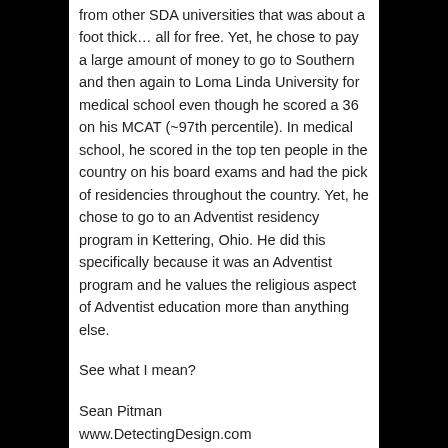from other SDA universities that was about a foot thick… all for free. Yet, he chose to pay a large amount of money to go to Southern and then again to Loma Linda University for medical school even though he scored a 36 on his MCAT (~97th percentile). In medical school, he scored in the top ten people in the country on his board exams and had the pick of residencies throughout the country. Yet, he chose to go to an Adventist residency program in Kettering, Ohio. He did this specifically because it was an Adventist program and he values the religious aspect of Adventist education more than anything else.
See what I mean?
Sean Pitman
www.DetectingDesign.com
Recent Comments by Sean Pitman
Science and Methodological Naturalism
Very interesting passage. After all, if scientists are